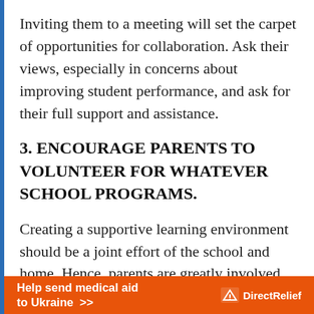Inviting them to a meeting will set the carpet of opportunities for collaboration. Ask their views, especially in concerns about improving student performance, and ask for their full support and assistance.
3. ENCOURAGE PARENTS TO VOLUNTEER FOR WHATEVER SCHOOL PROGRAMS.
Creating a supportive learning environment should be a joint effort of the school and home. Hence, parents are greatly involved. You can invite parents to speak before the class about
[Figure (other): Orange advertisement banner for Direct Relief: 'Help send medical aid to Ukraine >>' with Direct Relief logo on the right]